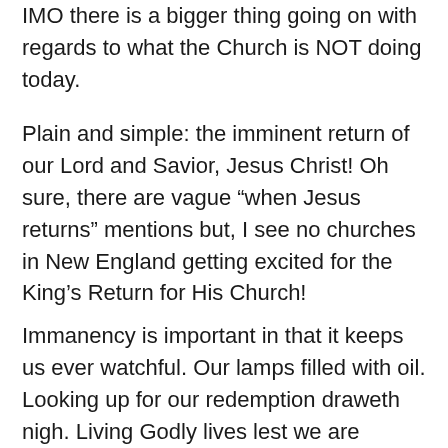IMO there is a bigger thing going on with regards to what the Church is NOT doing today.
Plain and simple: the imminent return of our Lord and Savior, Jesus Christ! Oh sure, there are vague “when Jesus returns” mentions but, I see no churches in New England getting excited for the King’s Return for His Church!
Immanency is important in that it keeps us ever watchful. Our lamps filled with oil. Looking up for our redemption draweth nigh. Living Godly lives lest we are caught unaware. I see the church asleep. I have tried talking with every church pastor I could but, they dismiss this. You would be amazed at how many Christians have told me “that’s scary!” about Christ returning for His church. That is the truth, believe it or not. The